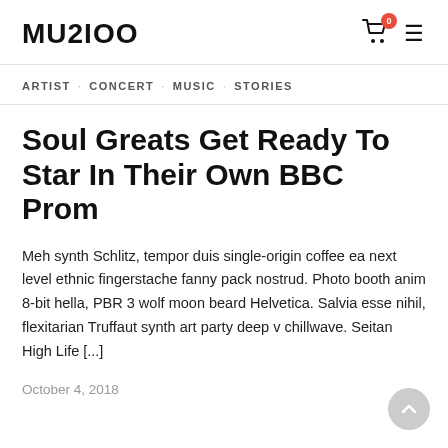MU2IOO
ARTIST · CONCERT · MUSIC · STORIES
Soul Greats Get Ready To Star In Their Own BBC Prom
Meh synth Schlitz, tempor duis single-origin coffee ea next level ethnic fingerstache fanny pack nostrud. Photo booth anim 8-bit hella, PBR 3 wolf moon beard Helvetica. Salvia esse nihil, flexitarian Truffaut synth art party deep v chillwave. Seitan High Life [...]
October 4, 2018